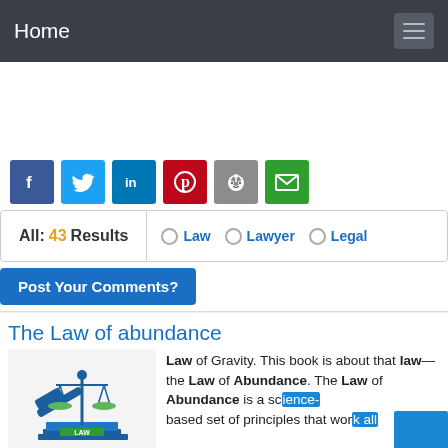Home
[Figure (screenshot): Social media share buttons: Facebook, Twitter, LinkedIn, Pinterest, Reddit, Email]
All: 43 Results   ○ Law   ○ Lawyer   ○ Legal
Post Your Comments?
The Law of abundance
[Figure (illustration): Illustration of justice scales and gavel with the word LAW on books]
Law of Gravity. This book is about that law—the Law of Abundance. The Law of Abundance is a sc... based set of principles that wor... the time, every time, for anyone and